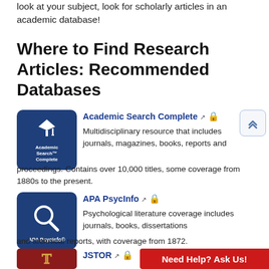look at your subject, look for scholarly articles in an academic database!
Where to Find Research Articles: Recommended Databases
[Figure (logo): Academic Search Complete database logo — dark blue square with graduation cap icon and text 'Academic Search™ Complete']
Academic Search Complete 🔗 🔒
Multidisciplinary resource that includes journals, magazines, books, reports and proceedings. Contains over 10,000 titles, some coverage from 1880s to the present.
[Figure (logo): APA PsycInfo database logo — dark blue square with magnifying glass icon and text 'APA PsycInfo']
APA PsycInfo 🔗 🔒
Psychological literature coverage includes journals, books, dissertations and technical reports, with coverage from 1872.
[Figure (logo): JSTOR logo — dark red square with decorative initial]
JSTOR 🔗 🔒
Need Help? Ask Us!